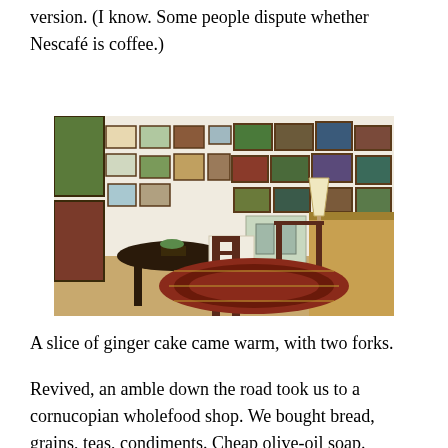version. (I know. Some people dispute whether Nescafé is coffee.)
[Figure (photo): Interior of a cozy café with wooden tables and chairs, framed paintings covering the white walls, a lamp on a counter, and a patterned rug on a wooden floor.]
A slice of ginger cake came warm, with two forks.
Revived, an amble down the road took us to a cornucopian wholefood shop. We bought bread, grains, teas, condiments. Cheap olive-oil soap.